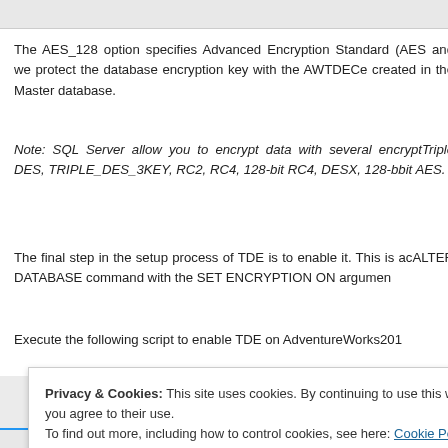The AES_128 option specifies Advanced Encryption Standard (AES) and we protect the database encryption key with the AWTDECe created in the Master database.
Note: SQL Server allow you to encrypt data with several encrypt Triple DES, TRIPLE_DES_3KEY, RC2, RC4, 128-bit RC4, DESX, 128-b bit AES.
The final step in the setup process of TDE is to enable it. This is ac ALTER DATABASE command with the SET ENCRYPTION ON argumen
Execute the following script to enable TDE on AdventureWorks201
Privacy & Cookies: This site uses cookies. By continuing to use this website, you agree to their use.
To find out more, including how to control cookies, see here: Cookie Policy